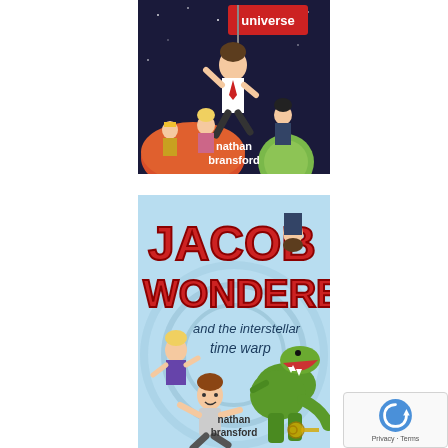[Figure (illustration): Book cover for a Jacob Wonderbar book by Nathan Bransford showing cartoon children in space with a red banner saying 'universe', set against a dark space background with planets]
[Figure (illustration): Book cover for 'Jacob Wonderbar and the Interstellar Time Warp' by Nathan Bransford showing cartoon children fleeing a dinosaur (T-Rex) on a light blue background with the title in red and blue letters]